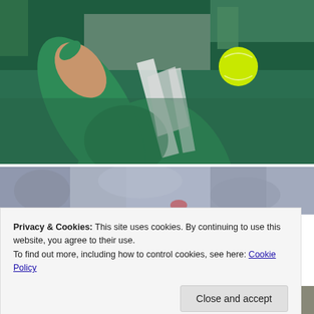[Figure (photo): Tennis player in green and white outfit hitting a ball, with yellow tennis ball visible in upper right. Green background with partial letters visible.]
[Figure (photo): Blurred crowd/audience in background, partial view of tennis scene.]
Privacy & Cookies: This site uses cookies. By continuing to use this website, you agree to their use.
To find out more, including how to control cookies, see here: Cookie Policy
Close and accept
[Figure (photo): Partial view of a person's head/face at bottom of page.]